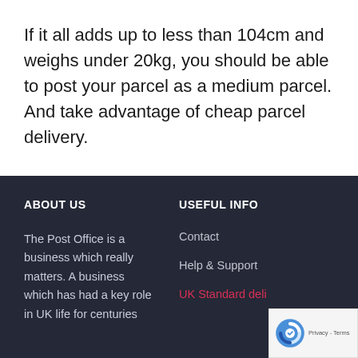If it all adds up to less than 104cm and weighs under 20kg, you should be able to post your parcel as a medium parcel. And take advantage of cheap parcel delivery.
ABOUT US | USEFUL INFO | The Post Office is a business which really matters. A business which has had a key role in UK life for centuries | Contact | Help & Support | UK Standard deli...